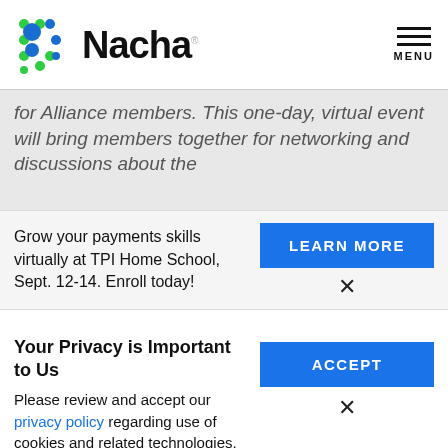[Figure (logo): Nacha logo with colorful dot pattern and bold 'Nacha' text]
MENU
for Alliance members. This one-day, virtual event will bring members together for networking and discussions about the
Grow your payments skills virtually at TPI Home School, Sept. 12-14. Enroll today!
LEARN MORE
×
Your Privacy is Important to Us
Please review and accept our privacy policy regarding use of cookies and related technologies.
ACCEPT
×